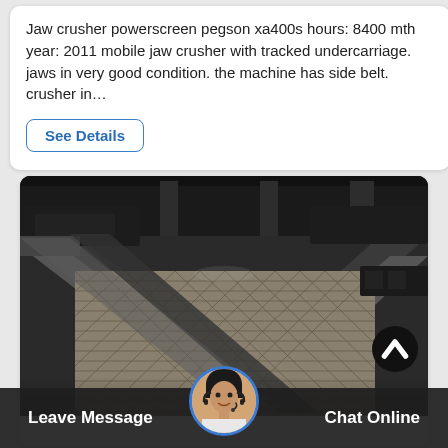Jaw crusher powerscreen pegson xa400s hours: 8400 mth year: 2011 mobile jaw crusher with tracked undercarriage. jaws in very good condition. the machine has side belt. crusher in…
See Details
[Figure (photo): Close-up industrial photo of a vibrating screen mesh/conveyor belt on a jaw crusher, showing diagonal metal rails and a woven steel mesh surface with diamond-pattern perforations, viewed from a low perspective angle.]
Leave Message
Chat Online